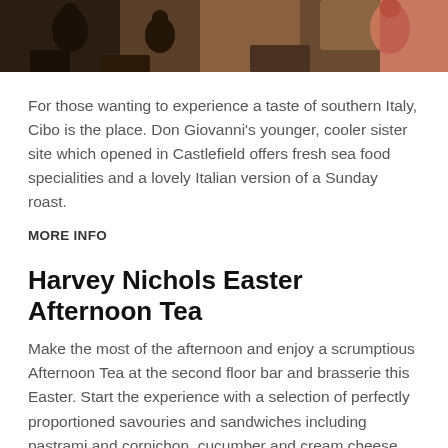[Figure (photo): A photo strip showing a restaurant interior with people seated, warm tones, partially visible]
For those wanting to experience a taste of southern Italy, Cibo is the place. Don Giovanni's younger, cooler sister site which opened in Castlefield offers fresh sea food specialities and a lovely Italian version of a Sunday roast.
MORE INFO
Harvey Nichols Easter Afternoon Tea
Make the most of the afternoon and enjoy a scrumptious Afternoon Tea at the second floor bar and brasserie this Easter. Start the experience with a selection of perfectly proportioned savouries and sandwiches including pastrami and cornichon, cucumber and cream cheese, egg mayonnaise, hot-